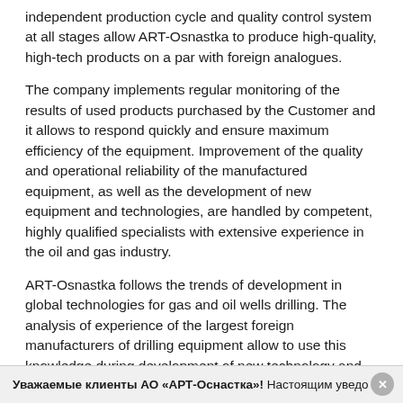independent production cycle and quality control system at all stages allow ART-Osnastka to produce high-quality, high-tech products on a par with foreign analogues.
The company implements regular monitoring of the results of used products purchased by the Customer and it allows to respond quickly and ensure maximum efficiency of the equipment. Improvement of the quality and operational reliability of the manufactured equipment, as well as the development of new equipment and technologies, are handled by competent, highly qualified specialists with extensive experience in the oil and gas industry.
ART-Osnastka follows the trends of development in global technologies for gas and oil wells drilling. The analysis of experience of the largest foreign manufacturers of drilling equipment allow to use this knowledge during development of new technology and upgrade of the existing ones. Before mass production, the products
Уважаемые клиенты АО «АРТ-Оснастка»! Настоящим увedo